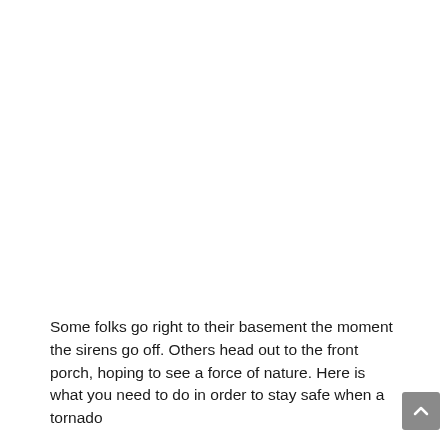Some folks go right to their basement the moment the sirens go off. Others head out to the front porch, hoping to see a force of nature. Here is what you need to do in order to stay safe when a tornado...